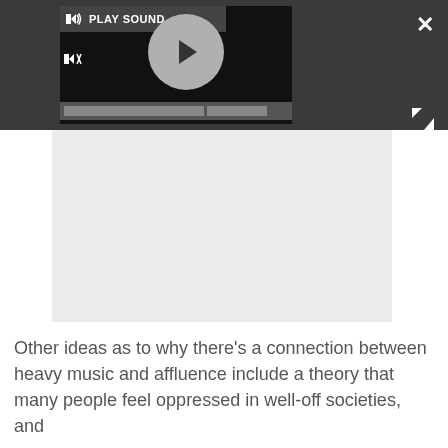[Figure (screenshot): A media player UI embedded in a dark grey bar. Shows 'PLAY SOUND' label with speaker icon, a circular play button, mute button, and progress bars. A close (X) button and expand (arrows) icon appear on the right side. Below the dark bar is a large light grey placeholder box.]
Other ideas as to why there’s a connection between heavy music and affluence include a theory that many people feel oppressed in well-off societies, and